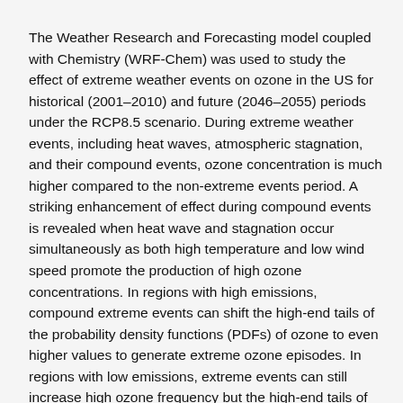The Weather Research and Forecasting model coupled with Chemistry (WRF-Chem) was used to study the effect of extreme weather events on ozone in the US for historical (2001–2010) and future (2046–2055) periods under the RCP8.5 scenario. During extreme weather events, including heat waves, atmospheric stagnation, and their compound events, ozone concentration is much higher compared to the non-extreme events period. A striking enhancement of effect during compound events is revealed when heat wave and stagnation occur simultaneously as both high temperature and low wind speed promote the production of high ozone concentrations. In regions with high emissions, compound extreme events can shift the high-end tails of the probability density functions (PDFs) of ozone to even higher values to generate extreme ozone episodes. In regions with low emissions, extreme events can still increase high ozone frequency but the high-end tails of the